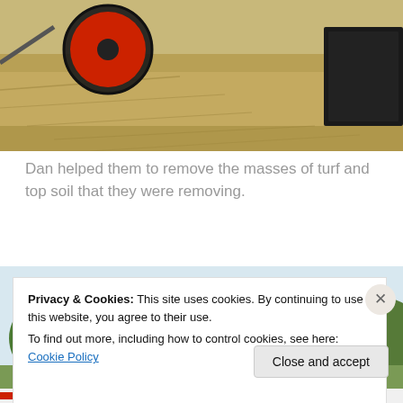[Figure (photo): Photo of a wheelbarrow with a red wheel on dry hay/straw ground, with a dark container visible on the right side.]
Dan helped them to remove the masses of turf and top soil that they were removing.
[Figure (photo): Outdoor photo showing green trees, open sky, and a person in a blue shirt visible at the bottom center of the frame.]
Privacy & Cookies: This site uses cookies. By continuing to use this website, you agree to their use.
To find out more, including how to control cookies, see here: Cookie Policy